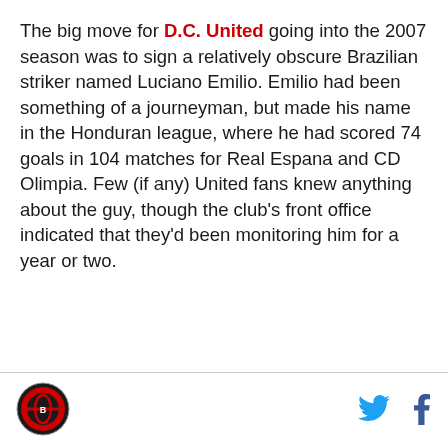The big move for D.C. United going into the 2007 season was to sign a relatively obscure Brazilian striker named Luciano Emilio. Emilio had been something of a journeyman, but made his name in the Honduran league, where he had scored 74 goals in 104 matches for Real Espana and CD Olimpia. Few (if any) United fans knew anything about the guy, though the club's front office indicated that they'd been monitoring him for a year or two.
[Figure (logo): D.C. United circular logo with red and black design]
[Figure (logo): Twitter bird icon in blue]
[Figure (logo): Facebook 'f' icon in dark blue]